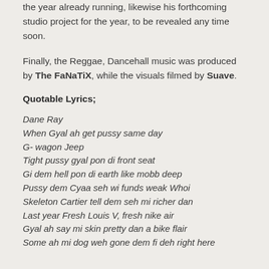the year already running, likewise his forthcoming studio project for the year, to be revealed any time soon.
Finally, the Reggae, Dancehall music was produced by The FaNaTiX, while the visuals filmed by Suave.
Quotable Lyrics;
Dane Ray
When Gyal ah get pussy same day
G- wagon Jeep
Tight pussy gyal pon di front seat
Gi dem hell pon di earth like mobb deep
Pussy dem Cyaa seh wi funds weak Whoi
Skeleton Cartier tell dem seh mi richer dan
Last year Fresh Louis V, fresh nike air
Gyal ah say mi skin pretty dan a bike flair
Some ah mi dog weh gone dem fi deh right here